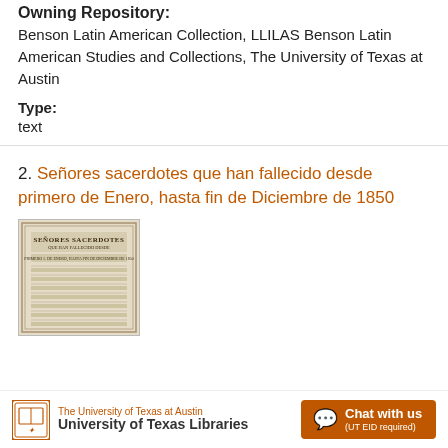Owning Repository:
Benson Latin American Collection, LLILAS Benson Latin American Studies and Collections, The University of Texas at Austin
Type:
text
2. Señores sacerdotes que han fallecido desde primero de Enero, hasta fin de Diciembre de 1850
[Figure (photo): Thumbnail image of an old document titled 'SEÑORES SACERDOTES' with subtitle text about dates from Enero to Diciembre de 1850, appearing as a scanned historical document page.]
The University of Texas at Austin University of Texas Libraries   Chat with us (UT EID required)